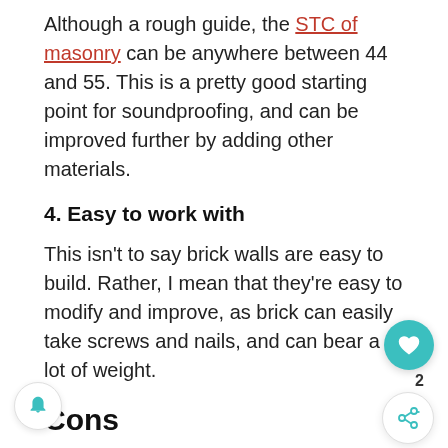Although a rough guide, the STC of masonry can be anywhere between 44 and 55. This is a pretty good starting point for soundproofing, and can be improved further by adding other materials.
4. Easy to work with
This isn't to say brick walls are easy to build. Rather, I mean that they're easy to modify and improve, as brick can easily take screws and nails, and can bear a lot of weight.
Cons
1. They reflect sound
Blocking sound is a good thing, but reflecting it